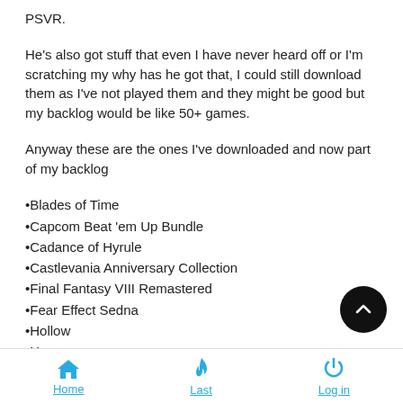PSVR.
He's also got stuff that even I have never heard off or I'm scratching my why has he got that, I could still download them as I've not played them and they might be good but my backlog would be like 50+ games.
Anyway these are the ones I've downloaded and now part of my backlog
•Blades of Time
•Capcom Beat 'em Up Bundle
•Cadance of Hyrule
•Castlevania Anniversary Collection
•Final Fantasy VIII Remastered
•Fear Effect Sedna
•Hollow
•Hover
Home  Last  Log in